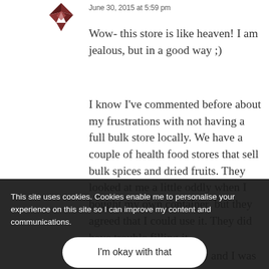[Figure (logo): Dark reddish-brown geometric logo/avatar icon]
June 30, 2015 at 5:59 pm
Wow- this store is like heaven! I am jealous, but in a good way ;)
I know I've commented before about my frustrations with not having a full bulk store locally. We have a couple of health food stores that sell bulk spices and dried fruits. They looked at me a little oddly when I bought my own container, but they agreed that I could use it. They did have trouble filling it without spilling- the definitely need some of those funnels and scoops. I mean at my local markets and it looked like they are you are working etc. I saw a programme on food in Australia recently and I was
This site uses cookies. Cookies enable me to personalise your experience on this site so I can improve my content and communications.
I'm okay with that